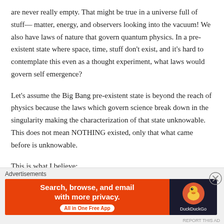are never really empty. That might be true in a universe full of stuff— matter, energy, and observers looking into the vacuum! We also have laws of nature that govern quantum physics. In a pre-existent state where space, time, stuff don't exist, and it's hard to contemplate this even as a thought experiment, what laws would govern self emergence?
Let's assume the Big Bang pre-existent state is beyond the reach of physics because the laws which govern science break down in the singularity making the characterization of that state unknowable. This does not mean NOTHING existed, only that what came before is unknowable.
This is what I believe:
[Figure (infographic): DuckDuckGo advertisement banner: orange left panel with 'Search, browse, and email with more privacy. All in One Free App' text and white pill button; dark right panel with DuckDuckGo logo and brand name.]